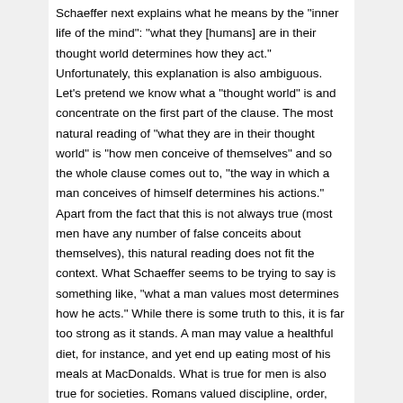Schaeffer next explains what he means by the "inner life of the mind": "what they [humans] are in their thought world determines how they act." Unfortunately, this explanation is also ambiguous. Let's pretend we know what a "thought world" is and concentrate on the first part of the clause. The most natural reading of "what they are in their thought world" is "how men conceive of themselves" and so the whole clause comes out to, "the way in which a man conceives of himself determines his actions." Apart from the fact that this is not always true (most men have any number of false conceits about themselves), this natural reading does not fit the context. What Schaeffer seems to be trying to say is something like, "what a man values most determines how he acts." While there is some truth to this, it is far too strong as it stands. A man may value a healthful diet, for instance, and yet end up eating most of his meals at MacDonalds. What is true for men is also true for societies. Romans valued discipline, order, temperance and courage. A quick glance at Tacitus reveals that many if not most Romans of his day exhibited none of these virtues. What a man or what a society is 'in their thought world' does not